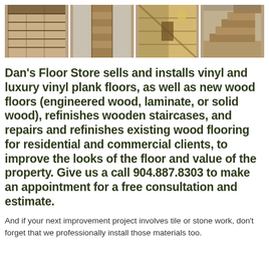[Figure (photo): Four photos of wood flooring and staircases side by side in a horizontal strip]
Dan's Floor Store sells and installs vinyl and luxury vinyl plank floors, as well as new wood floors (engineered wood, laminate, or solid wood), refinishes wooden staircases, and repairs and refinishes existing wood flooring for residential and commercial clients, to improve the looks of the floor and value of the property. Give us a call 904.887.8303 to make an appointment for a free consultation and estimate.
And if your next improvement project involves tile or stone work, don't forget that we professionally install those materials too.